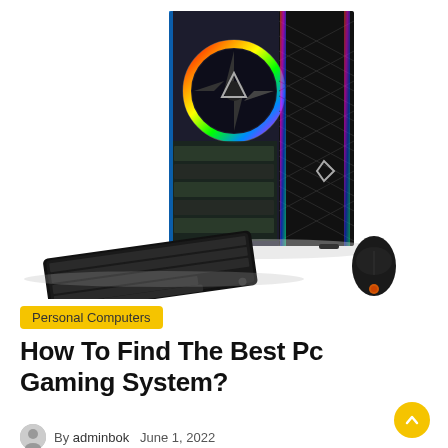[Figure (photo): A gaming PC tower with RGB lighting showing colorful fans and internal components through a transparent side panel, displayed with a black gaming keyboard and gaming mouse]
Personal Computers
How To Find The Best Pc Gaming System?
By adminbok   June 1, 2022